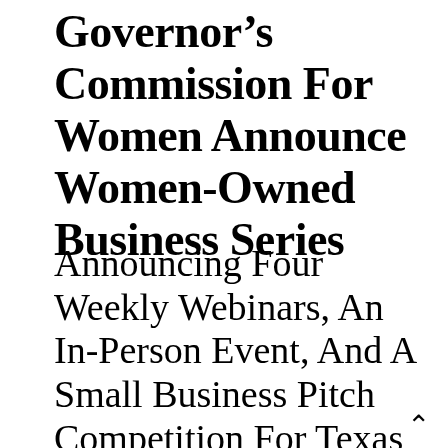Governor's Commission For Women Announce Women-Owned Business Series
Announcing Four Weekly Webinars, An In-Person Event, And A Small Business Pitch Competition For Texas Women Business Owners